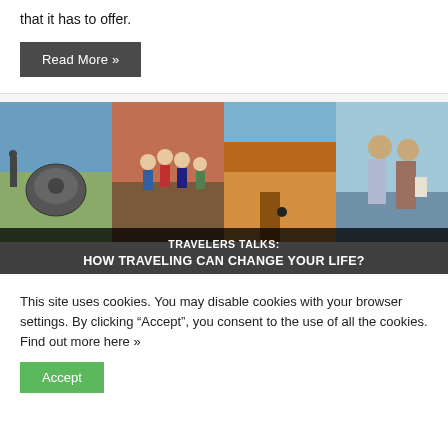that it has to offer.
Read More »
[Figure (photo): Travel collage banner with four travel photos side by side: stone artifact at archaeological site, family group photo at a travel location, orange/red canyon cliffs, and a couple posing near water. Overlaid text reads 'TRAVELERS TALKS: HOW TRAVELING CAN CHANGE YOUR LIFE?']
This site uses cookies. You may disable cookies with your browser settings. By clicking “Accept”, you consent to the use of all the cookies. Find out more here »
Accept